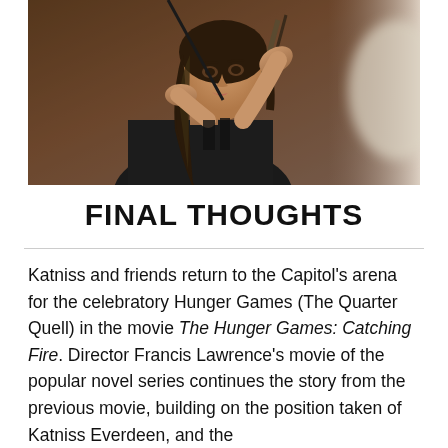[Figure (photo): A young woman with brown hair aiming a bow and arrow toward the camera in a dramatic action pose. She is wearing a dark sleeveless top. The background is blurred and dark.]
FINAL THOUGHTS
Katniss and friends return to the Capitol’s arena for the celebratory Hunger Games (The Quarter Quell) in the movie The Hunger Games: Catching Fire. Director Francis Lawrence’s movie of the popular novel series continues the story from the previous movie, building on the position taken of Katniss Everdeen, and the